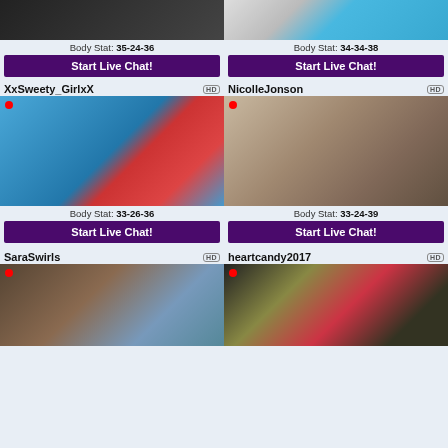Body Stat: 35-24-36
Body Stat: 34-34-38
Start Live Chat!
Start Live Chat!
XxSweety_GirlxX
NicolleJonson
[Figure (photo): Person on red inflatable raft in pool]
[Figure (photo): Person in room posing]
Body Stat: 33-26-36
Body Stat: 33-24-39
Start Live Chat!
Start Live Chat!
SaraSwirls
heartcandy2017
[Figure (photo): Person with blue top, partial view]
[Figure (photo): Person with red/black hair and sunglasses]